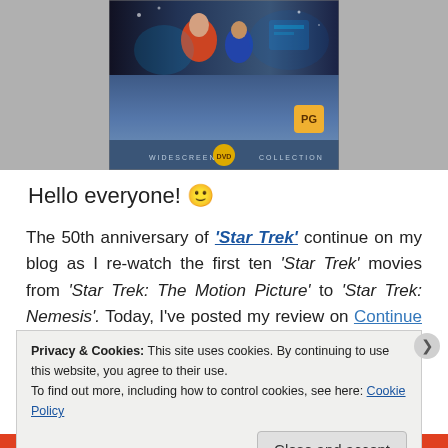[Figure (photo): Star Trek DVD Widescreen Collection cover image showing characters in space setting with PG rating badge and DVD logo]
Hello everyone! 🙂
The 50th anniversary of 'Star Trek' continue on my blog as I re-watch the first ten 'Star Trek' movies from 'Star Trek: The Motion Picture' to 'Star Trek: Nemesis'. Today, I've posted my review on Continue reading →
Privacy & Cookies: This site uses cookies. By continuing to use this website, you agree to their use.
To find out more, including how to control cookies, see here: Cookie Policy
Close and accept